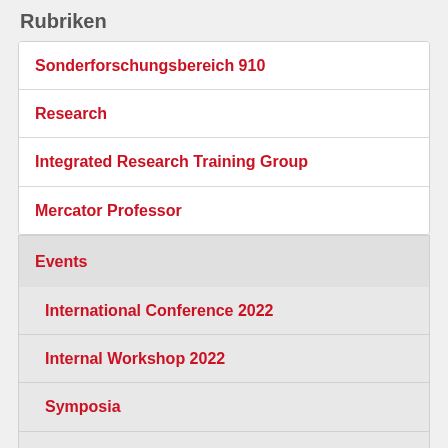Rubriken
Sonderforschungsbereich 910
Research
Integrated Research Training Group
Mercator Professor
Events
International Conference 2022
Internal Workshop 2022
Symposia
Eugene Wigner Colloquium